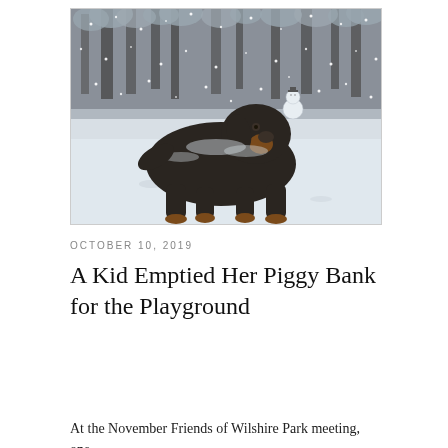[Figure (photo): A large black and brown dog (appears to be a Bernese Mountain Dog) standing in a snowy field with heavy snowfall coming down. In the background there is a small snowman and snow-covered trees.]
OCTOBER 10, 2019
A Kid Emptied Her Piggy Bank for the Playground
At the November Friends of Wilshire Park meeting, one